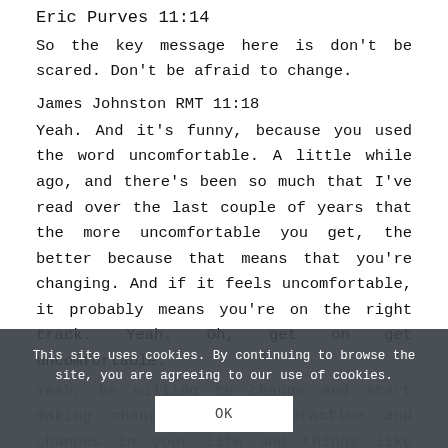Eric Purves 11:14
So the key message here is don't be scared. Don't be afraid to change.
James Johnston RMT 11:18
Yeah. And it's funny, because you used the word uncomfortable. A little while ago, and there's been so much that I've read over the last couple of years that the more uncomfortable you get, the better because that means that you're changing. And if it feels uncomfortable, it probably means you're on the right track. Yeah. Oh, get on get uncomfortable.
Yeah, be willing to change and start making changes in your practice and changes in your life and things like that, maybe that's a maybe a longer rant than we
This site uses cookies. By continuing to browse the site, you are agreeing to our use of cookies.
OK